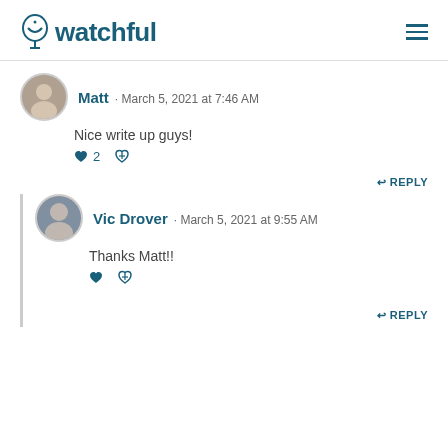Watchful
Matt · March 5, 2021 at 7:46 AM
Nice write up guys!
♥ 2  ♥
↩ REPLY
Vic Drover · March 5, 2021 at 9:55 AM
Thanks Matt!!
♥  ♥
↩ REPLY